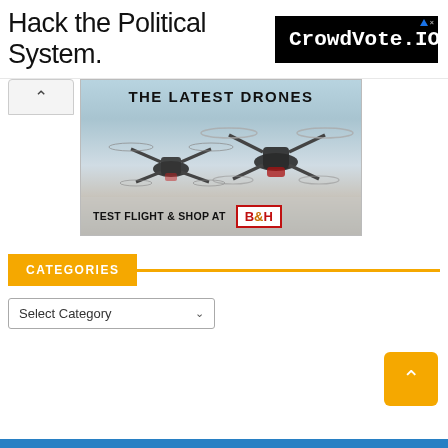[Figure (screenshot): Advertisement banner: 'Hack the Political System.' text on left, CrowdVote.IO logo on black background on right with ad badge]
[Figure (photo): Advertisement for B&H Photo showing drones with text 'THE LATEST DRONES' at top and 'TEST FLIGHT & SHOP AT B&H' at bottom]
CATEGORIES
[Figure (screenshot): Dropdown select box labeled 'Select Category' with dropdown arrow]